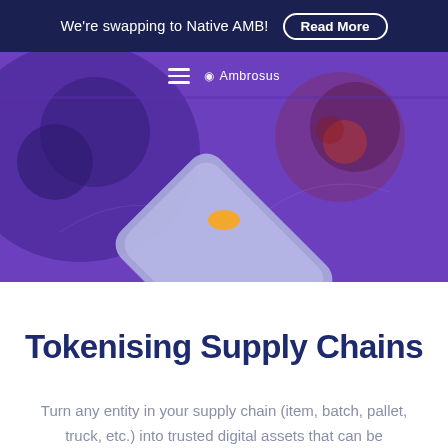We're swapping to Native AMB! Read More
[Figure (screenshot): Ambrosus website hero section with purple background showing blockchain/supply chain visual elements, hamburger menu, and Ambrosus logo]
Tokenising Supply Chains
Turn any entity in your supply chain (item, batch, pallet, truck, etc.) into trusted digital assets that can be